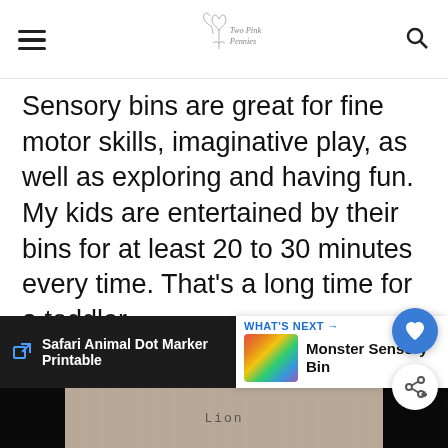Two Pink Pennies
Sensory bins are great for fine motor skills, imaginative play, as well as exploring and having fun. My kids are entertained by their bins for at least 20 to 30 minutes every time. That’s a long time for a toddler
[Figure (infographic): Floating action buttons: heart/save button and share button, circular blue icons on right side]
[Figure (screenshot): Bottom navigation bar showing Safari Animal Dot Marker Printable and What's Next: Monster Sensory Bin with a colorful thumbnail]
[Figure (photo): Bottom strip showing a wood-textured surface with a label reading Lion]